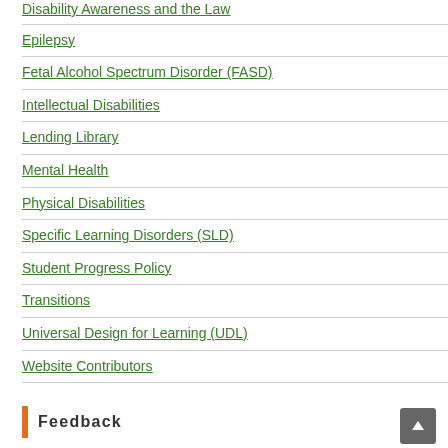Disability Awareness and the Law
Epilepsy
Fetal Alcohol Spectrum Disorder (FASD)
Intellectual Disabilities
Lending Library
Mental Health
Physical Disabilities
Specific Learning Disorders (SLD)
Student Progress Policy
Transitions
Universal Design for Learning (UDL)
Website Contributors
Feedback